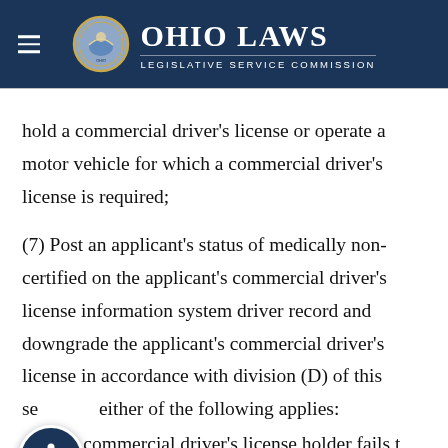Ohio Laws — Legislative Service Commission
hold a commercial driver's license or operate a motor vehicle for which a commercial driver's license is required;
(7) Post an applicant's status of medically non-certified on the applicant's commercial driver's license information system driver record and downgrade the applicant's commercial driver's license in accordance with division (D) of this section if either of the following applies:
(a) The commercial driver's license holder fails to...